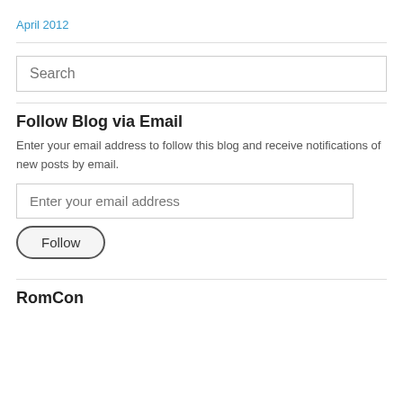April 2012
Search
Follow Blog via Email
Enter your email address to follow this blog and receive notifications of new posts by email.
Enter your email address
Follow
RomCon